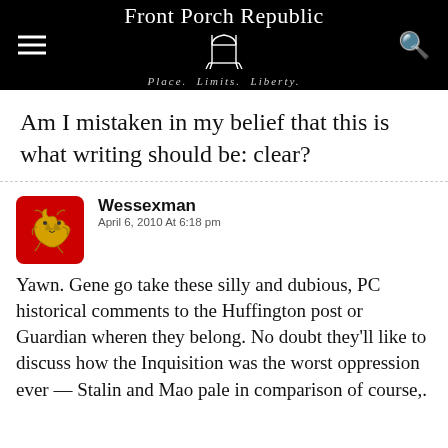Front Porch Republic · Place. Limits. Liberty.
Am I mistaken in my belief that this is what writing should be: clear?
Wessexman
April 6, 2010 At 6:18 pm
Yawn. Gene go take these silly and dubious, PC historical comments to the Huffington post or Guardian wheren they belong. No doubt they'll like to discuss how the Inquisition was the worst oppression ever — Stalin and Mao pale in comparison of course,.